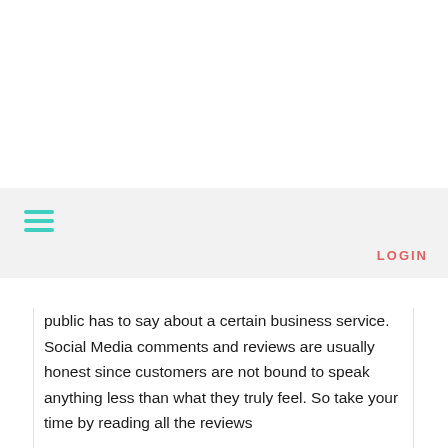[Figure (infographic): Hamburger menu icon with three teal horizontal lines on a light gray navigation bar]
LOGIN
public has to say about a certain business service. Social Media comments and reviews are usually honest since customers are not bound to speak anything less than what they truly feel. So take your time by reading all the reviews